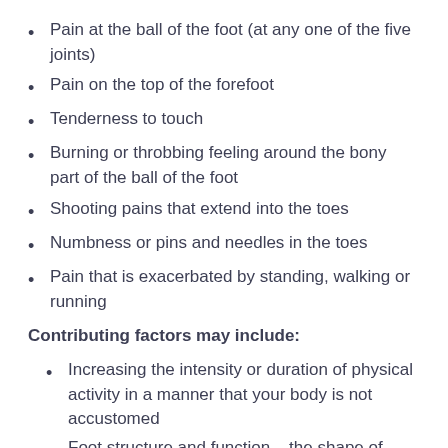Pain at the ball of the foot (at any one of the five joints)
Pain on the top of the forefoot
Tenderness to touch
Burning or throbbing feeling around the bony part of the ball of the foot
Shooting pains that extend into the toes
Numbness or pins and needles in the toes
Pain that is exacerbated by standing, walking or running
Contributing factors may include:
Increasing the intensity or duration of physical activity in a manner that your body is not accustomed
Foot structure and function – the shape of